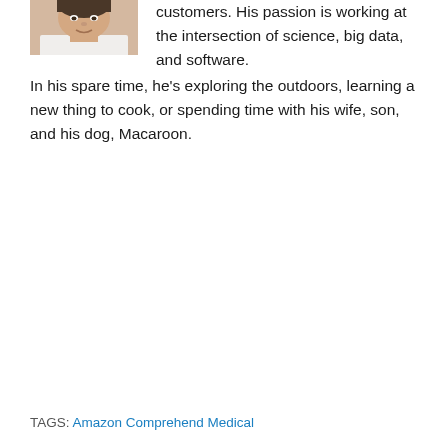[Figure (photo): Partial headshot photo of a person, cropped at top, showing face and upper torso in light clothing]
customers. His passion is working at the intersection of science, big data, and software.
In his spare time, he's exploring the outdoors, learning a new thing to cook, or spending time with his wife, son, and his dog, Macaroon.
TAGS: Amazon Comprehend Medical